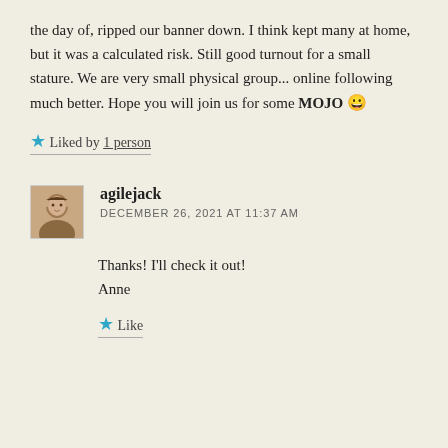the day of, ripped our banner down. I think kept many at home, but it was a calculated risk. Still good turnout for a small stature. We are very small physical group... online following much better. Hope you will join us for some MOJO 😀
★ Liked by 1 person
agilejack
DECEMBER 26, 2021 AT 11:37 AM
Thanks! I'll check it out!
Anne
★ Like